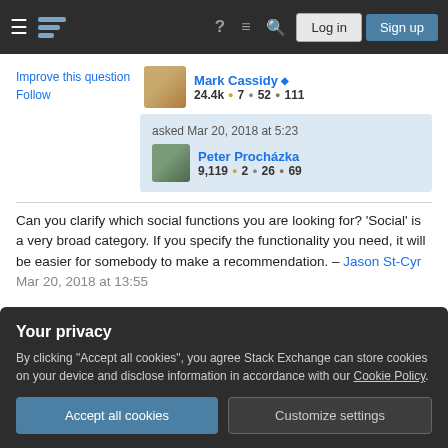Stack Exchange navigation bar with Log in and Sign up buttons
Improve this question
Follow
Mark Cassidy ◆ 24.4k ●7 ●52 ●111
asked Mar 20, 2018 at 5:23
Peter Procházka
9,119 ●2 ●26 ●69
Can you clarify which social functions you are looking for? 'Social' is a very broad category. If you specify the functionality you need, it will be easier for somebody to make a recommendation. – Jason St-Cyr Mar 20, 2018 at 13:55
Your privacy
By clicking "Accept all cookies", you agree Stack Exchange can store cookies on your device and disclose information in accordance with our Cookie Policy.
Accept all cookies
Customize settings
sharing on social networks. It is a platform for building you own Community with user profiles, messaging